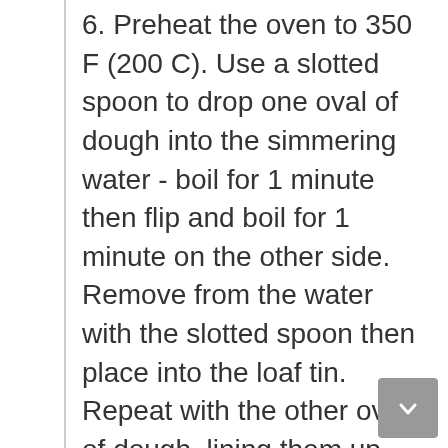6. Preheat the oven to 350 F (200 C). Use a slotted spoon to drop one oval of dough into the simmering water - boil for 1 minute then flip and boil for 1 minute on the other side. Remove from the water with the slotted spoon then place into the loaf tin. Repeat with the other ovals of dough, lining them up inside the tin next to each other. Brush the cracks in between the dough ovals with beaten egg to ensure they stick together during baking. Brush the top of the loaf with beaten egg and sprinkle on more sesame seeds or poppy seeds. Bake for 30-40 minutes until dark golden. Leave to cool in the tin for a few minutes before serving.